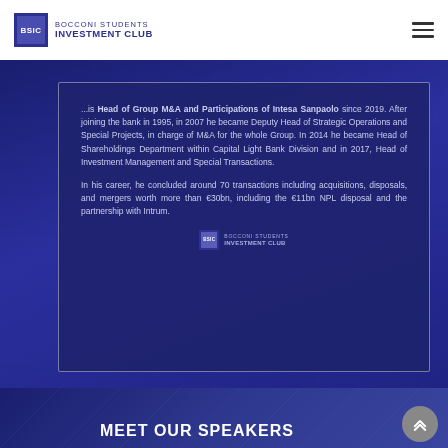BOCCONI STUDENTS INVESTMENT CLUB
...is Head of Group M&A and Participations of Intesa Sanpaolo since 2019. After joining the bank in 1995, in 2007 he became Deputy Head of Strategic Operations and Special Projects, in charge of M&A for the whole Group. In 2014 he became Head of Shareholdings Department within Capital Light Bank Division and in 2017, Head of Investment Management and Special Transactions.

In his career, he concluded around 70 transactions including acquisitions, disposals, and mergers worth more than €30bn, including the €11bn NPL disposal and the partnership with Intrum.
[Figure (logo): Bocconi Students Investment Club logo inside card]
Iniziativa finanziata con i contributi dell'Università Bocconi
MEET OUR SPEAKERS